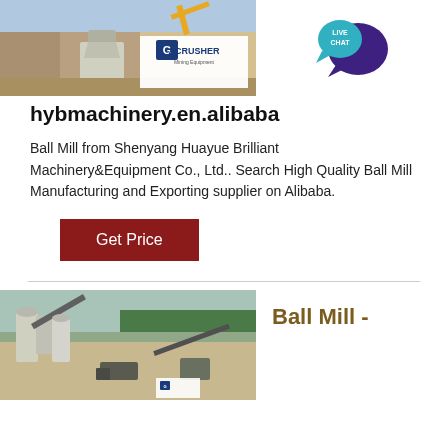[Figure (photo): Mining quarry with crusher equipment and ACRUSHER Mining Equipment logo overlay]
[Figure (logo): LIVE CHAT speech bubble icon in dark blue/purple]
hybmachinery.en.alibaba
Ball Mill from Shenyang Huayue Brilliant Machinery&Equipment Co., Ltd.. Search High Quality Ball Mill Manufacturing and Exporting supplier on Alibaba.
[Figure (other): Get Price button (dark red)]
[Figure (photo): Mining quarry aerial view with conveyor belts and processing equipment, ACRUSHER logo at bottom]
Ball Mill -